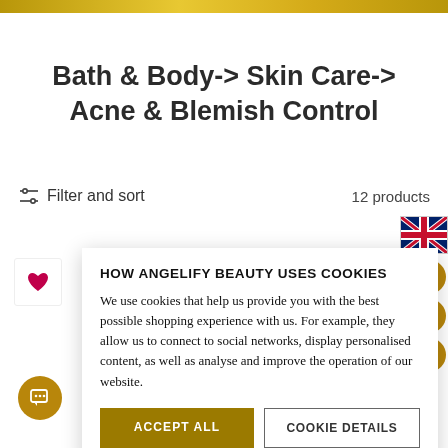Bath & Body-> Skin Care-> Acne & Blemish Control
Filter and sort   12 products
HOW ANGELIFY BEAUTY USES COOKIES
We use cookies that help us provide you with the best possible shopping experience with us. For example, they allow us to connect to social networks, display personalised content, as well as analyse and improve the operation of our website.
ACCEPT ALL   COOKIE DETAILS